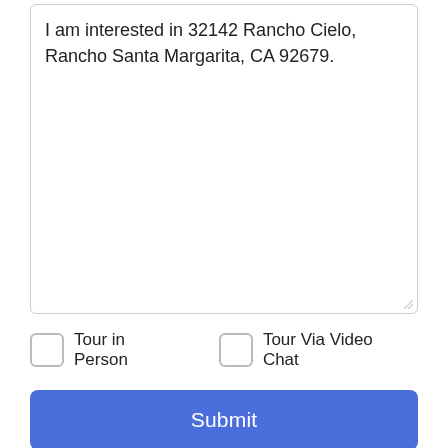I am interested in 32142 Rancho Cielo, Rancho Santa Margarita, CA 92679.
Tour in Person
Tour Via Video Chat
Submit
Disclaimer: By entering your information and submitting this form, you agree to our Terms of Use and Privacy Policy and that you may be contacted by phone, text message and email about your inquiry.
Based on information from California Regional Multiple Listing
Take a Tour
Ask A Question